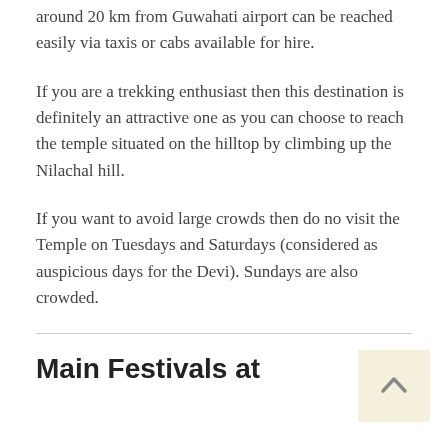around 20 km from Guwahati airport can be reached easily via taxis or cabs available for hire.
If you are a trekking enthusiast then this destination is definitely an attractive one as you can choose to reach the temple situated on the hilltop by climbing up the Nilachal hill.
If you want to avoid large crowds then do no visit the Temple on Tuesdays and Saturdays (considered as auspicious days for the Devi). Sundays are also crowded.
Main Festivals at